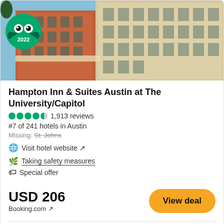[Figure (photo): Hotel exterior photo of Hampton Inn & Suites Austin at The University/Capitol, brick building with TripAdvisor 2022 Travellers' Choice badge in top left corner]
Hampton Inn & Suites Austin at The University/Capitol
1,913 reviews
#7 of 241 hotels in Austin
Missing: St. Johns
Visit hotel website ↗
Taking safety measures
Special offer
USD 206
Booking.com ↗
View deal
View all 17 deals from USD 183
[Figure (photo): Austin city skyline panorama photo with skyscrapers and blue sky with clouds]